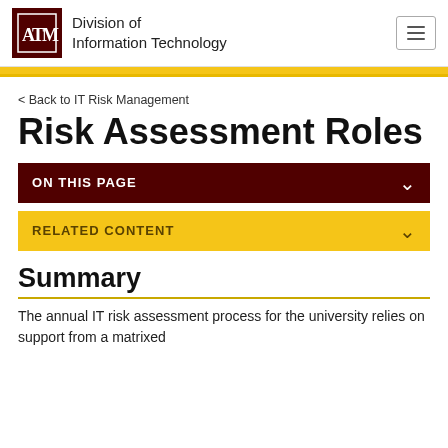Division of Information Technology
< Back to IT Risk Management
Risk Assessment Roles
ON THIS PAGE
RELATED CONTENT
Summary
The annual IT risk assessment process for the university relies on support from a matrixed